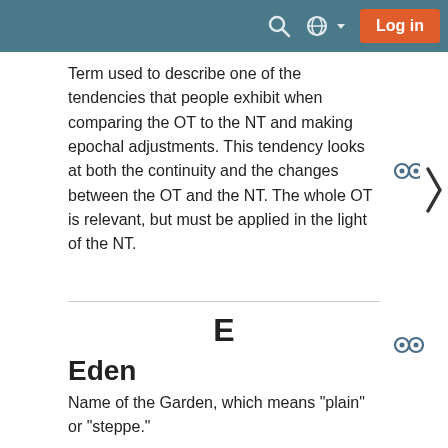Log in
Term used to describe one of the tendencies that people exhibit when comparing the OT to the NT and making epochal adjustments. This tendency looks at both the continuity and the changes between the OT and the NT. The whole OT is relevant, but must be applied in the light of the NT.
E
Eden
Name of the Garden, which means "plain" or "steppe."
F
Flattened